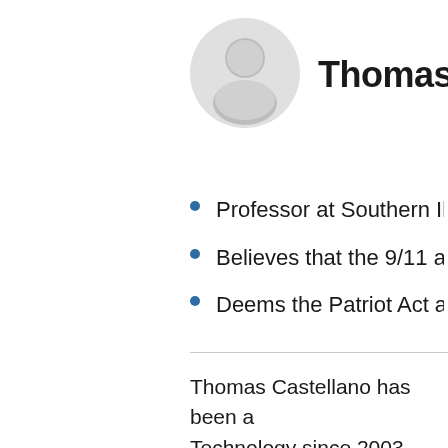[Figure (illustration): Generic user avatar icon — circular grey silhouette with person shape]
Thomas
Professor at Southern Illino
Believes that the 9/11 attacks
Deems the Patriot Act an ass
Thomas Castellano has been a Technology since 2003. Prior to Justice Department at Souther